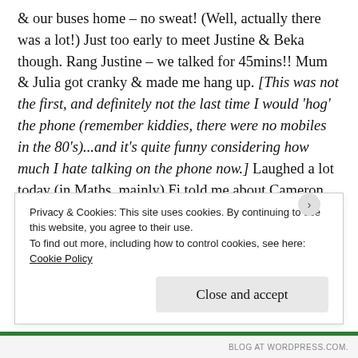& our buses home – no sweat! (Well, actually there was a lot!) Just too early to meet Justine & Beka though. Rang Justine – we talked for 45mins!! Mum & Julia got cranky & made me hang up. [This was not the first, and definitely not the last time I would 'hog' the phone (remember kiddies, there were no mobiles in the 80's)...and it's quite funny considering how much I hate talking on the phone now.] Laughed a lot today (in Maths, mainly) Fi told me about Cameron asking about me. [In relation to being a past neighbour of his father & stepmother – not for the reasons one might ordinarily guess] He didn't even know
Privacy & Cookies: This site uses cookies. By continuing to use this website, you agree to their use.
To find out more, including how to control cookies, see here:
Cookie Policy
Close and accept